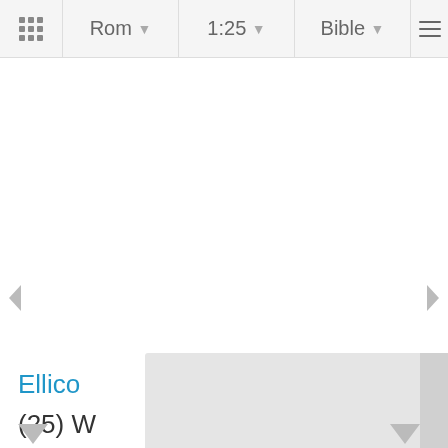Rom  1:25  Bible
Ellico
(25) W